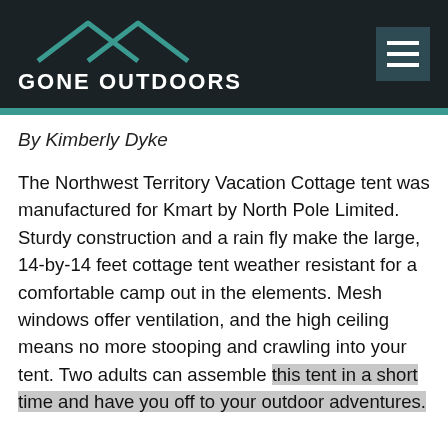GONE OUTDOORS
By Kimberly Dyke
The Northwest Territory Vacation Cottage tent was manufactured for Kmart by North Pole Limited. Sturdy construction and a rain fly make the large, 14-by-14 feet cottage tent weather resistant for a comfortable camp out in the elements. Mesh windows offer ventilation, and the high ceiling means no more stooping and crawling into your tent. Two adults can assemble this tent in a short time and have you off to your outdoor adventures.